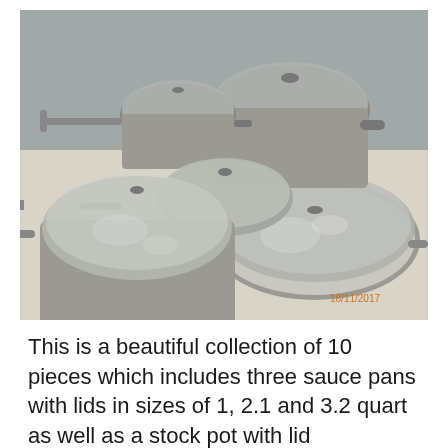[Figure (photo): A set of cookware with glass lids arranged on a white table surface. The collection includes multiple sauce pans and a stock pot, all with silver/gray non-stick interiors and stainless steel handles. A date stamp '18/11/2017' is visible in the lower right corner of the photo.]
This is a beautiful collection of 10 pieces which includes three sauce pans with lids in sizes of 1, 2.1 and 3.2 quart as well as a stock pot with lid that has an 8.8 quart capacity and a two piece frying